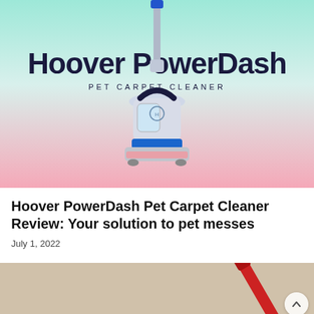[Figure (photo): Hoover PowerDash Pet Carpet Cleaner product image on a gradient background from teal/mint at top to pink at bottom. Text on image reads 'Hoover PowerDash' in large dark navy font and 'PET CARPET CLEANER' in smaller tracked uppercase letters below.]
Hoover PowerDash Pet Carpet Cleaner Review: Your solution to pet messes
July 1, 2022
[Figure (photo): Partial bottom image showing a beige/sandy carpet surface with a red vacuum cleaner handle visible on the right side. A circular scroll-to-top button appears in the bottom right corner.]